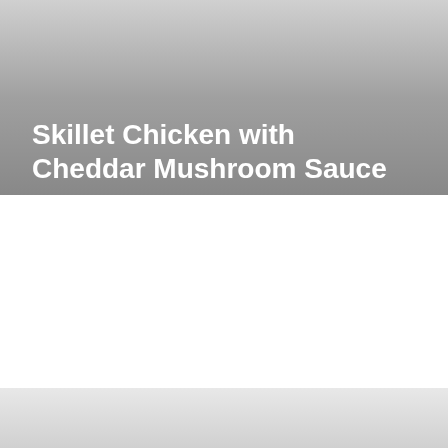[Figure (photo): Top portion showing a gradient background from light gray at top to darker gray at bottom, occupying approximately the top 43% of the page.]
Skillet Chicken with Cheddar Mushroom Sauce
[Figure (photo): Bottom strip showing a light gray gradient, occupying the bottom portion of the page.]